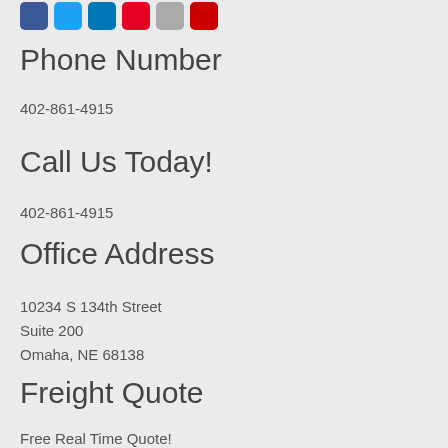[Figure (other): Row of social media icon buttons: Facebook (blue), Twitter (light blue), LinkedIn (dark blue), Pinterest (red), Email (gray), YouTube (red)]
Phone Number
402-861-4915
Call Us Today!
402-861-4915
Office Address
10234 S 134th Street
Suite 200
Omaha, NE 68138
Freight Quote
Free Real Time Quote!